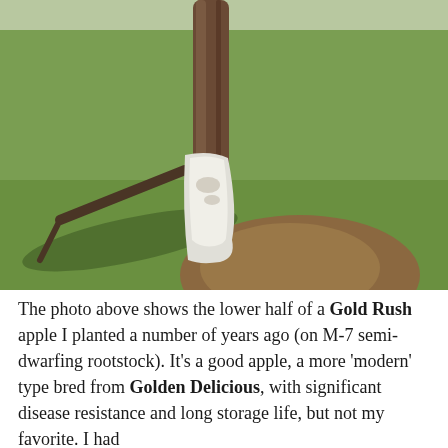[Figure (photo): Photo of the lower half of a Gold Rush apple tree with white-painted lower trunk on M-7 semi-dwarfing rootstock. The tree is growing in a grassy area with a dirt mound at the base. The lower portion of the trunk is painted white, and a branch shadow falls on the grass to the left.]
The photo above shows the lower half of a Gold Rush apple I planted a number of years ago (on M-7 semi-dwarfing rootstock). It's a good apple, a more 'modern' type bred from Golden Delicious, with significant disease resistance and long storage life, but not my favorite. I had